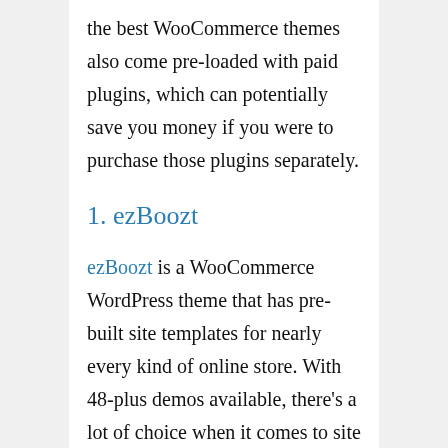the best WooCommerce themes also come pre-loaded with paid plugins, which can potentially save you money if you were to purchase those plugins separately.
1. ezBoozt
ezBoozt is a WooCommerce WordPress theme that has pre-built site templates for nearly every kind of online store. With 48-plus demos available, there's a lot of choice when it comes to site layouts with this theme. The pre-built 'demo' designs cover a variety of